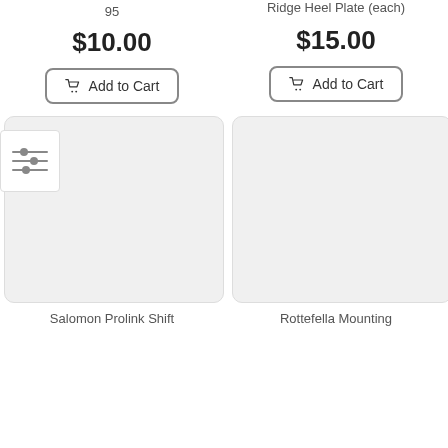95
Ridge Heel Plate (each)
$10.00
$15.00
Add to Cart
Add to Cart
[Figure (screenshot): Filter/settings icon with three horizontal sliders]
[Figure (photo): Empty product image placeholder card (left)]
[Figure (photo): Empty product image placeholder card (right)]
Salomon Prolink Shift
Rottefella Mounting